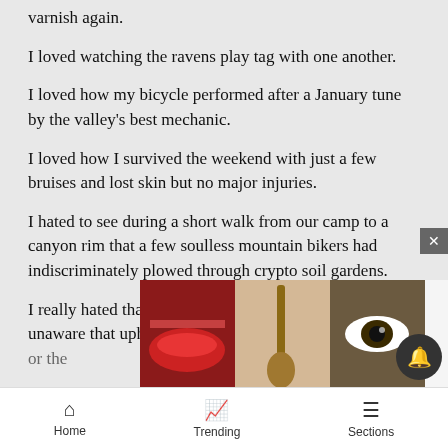varnish again.
I loved watching the ravens play tag with one another.
I loved how my bicycle performed after a January tune by the valley's best mechanic.
I loved how I survived the weekend with just a few bruises and lost skin but no major injuries.
I hated to see during a short walk from our camp to a canyon rim that a few soulless mountain bikers had indiscriminately plowed through crypto soil gardens.
I really hated that so many mountain bikers either were unaware that uphill riders have the right-of-way or the…
[Figure (screenshot): Ulta beauty advertisement banner with makeup images and SHOP NOW text]
Home   Trending   Sections